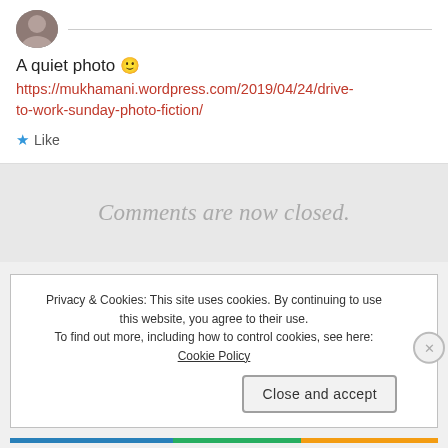[Figure (photo): Small circular avatar/profile photo of a person]
A quiet photo 🙂
https://mukhamani.wordpress.com/2019/04/24/drive-to-work-sunday-photo-fiction/
★ Like
Comments are now closed.
Privacy & Cookies: This site uses cookies. By continuing to use this website, you agree to their use.
To find out more, including how to control cookies, see here: Cookie Policy
Close and accept